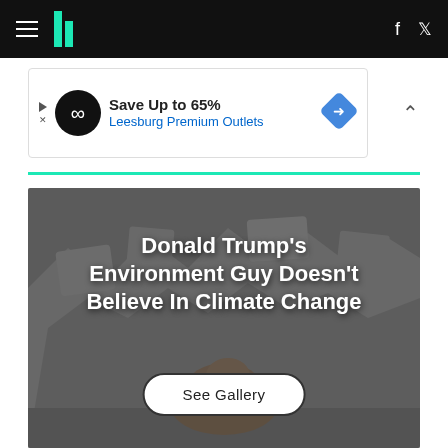HuffPost navigation bar with hamburger menu, logo, Facebook and Twitter icons
[Figure (screenshot): Advertisement banner: Save Up to 65% Leesburg Premium Outlets with infinity symbol logo and blue diamond icon]
[Figure (photo): Polar bear on icy arctic landscape, grayscale, with dark overlay and hero text: Donald Trump's Environment Guy Doesn't Believe In Climate Change, and a See Gallery button]